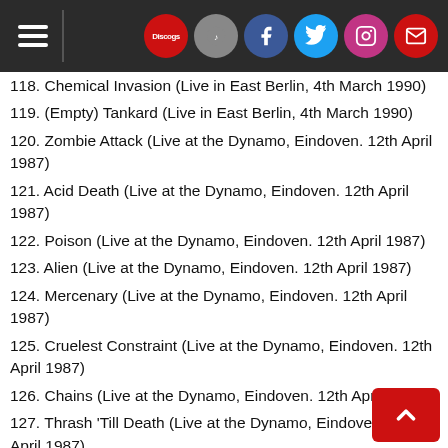Navigation header with hamburger menu and social icons (Discogs, Facebook, Twitter, Instagram, Mail)
118. Chemical Invasion (Live in East Berlin, 4th March 1990)
119. (Empty) Tankard (Live in East Berlin, 4th March 1990)
120. Zombie Attack (Live at the Dynamo, Eindoven. 12th April 1987)
121. Acid Death (Live at the Dynamo, Eindoven. 12th April 1987)
122. Poison (Live at the Dynamo, Eindoven. 12th April 1987)
123. Alien (Live at the Dynamo, Eindoven. 12th April 1987)
124. Mercenary (Live at the Dynamo, Eindoven. 12th April 1987)
125. Cruelest Constraint (Live at the Dynamo, Eindoven. 12th April 1987)
126. Chains (Live at the Dynamo, Eindoven. 12th April 1987)
127. Thrash 'Till Death (Live at the Dynamo, Eindoven. 12th April 1987)
128. Maniac Forces (Live at the Dynamo, Eindoven. 12th April 1987)
129. Concrete Deserts (Live at the Dynamo, Eindoven. 12th April 1987)
130. Screamin' Victims (Live at the Dynamo, Eindoven. 12th April 1987)
131. Alcohol (Live at the Dynamo, Eindoven. 12th April 1987)
132. (Empty) Tankard (Live at the Dynamo, Eindoven. 12th April 1987)
133. Don't Panic (Live at Volksbildungsheim, Frankfurt, 1st December 1988)
134. Shit-Faced (Live at Volksbildungsheim, Frankfurt, 1st December 1988)
135. Maniac Forces (Live at Volksbildungsheim, Frankfurt, 1st